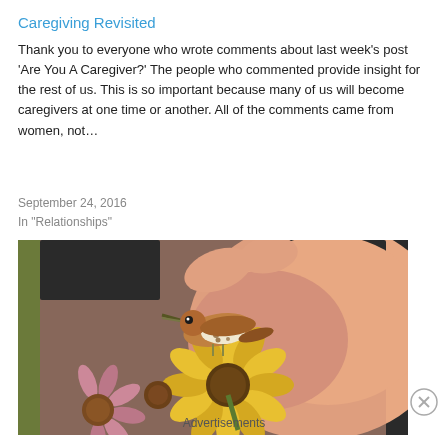Caregiving Revisited
Thank you to everyone who wrote comments about last week’s post ‘Are You A Caregiver?’ The people who commented provide insight for the rest of us. This is so important because many of us will become caregivers at one time or another. All of the comments came from women, not…
September 24, 2016
In "Relationships"
[Figure (illustration): Painting of a brown-and-white bird perched on a yellow sunflower, with pink and peach floral background and dark textured border.]
Advertisements